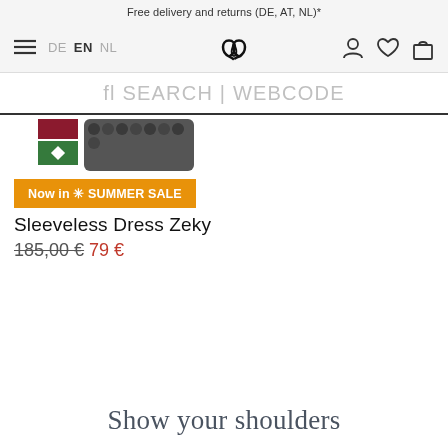Free delivery and returns (DE, AT, NL)*
[Figure (screenshot): Navigation bar with hamburger menu, language selector (DE, EN, NL), logo (interlinked hearts/circles), user icon, wishlist icon, and bag icon]
fl SEARCH | WEBCODE
[Figure (photo): Product image showing dark bracelet with beads, with color swatches (red and green)]
Now in * SUMMER SALE
Sleeveless Dress Zeky
185,00 € 79 €
Show your shoulders